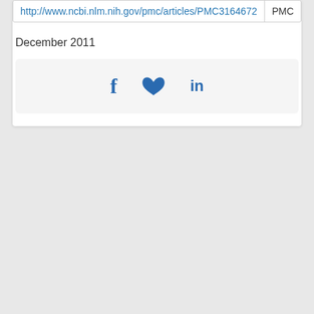| URL | Source |
| --- | --- |
| http://www.ncbi.nlm.nih.gov/pmc/articles/PMC3164672 | PMC |
December 2011
[Figure (other): Social sharing icons: Facebook (f), Twitter (bird), LinkedIn (in)]